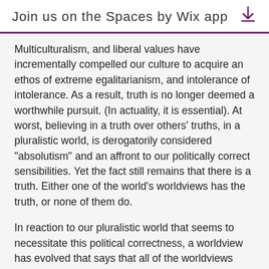Join us on the Spaces by Wix app
Multiculturalism, and liberal values have incrementally compelled our culture to acquire an ethos of extreme egalitarianism, and intolerance of intolerance. As a result, truth is no longer deemed a worthwhile pursuit. (In actuality, it is essential). At worst, believing in a truth over others' truths, in a pluralistic world, is derogatorily considered "absolutism" and an affront to our politically correct sensibilities. Yet the fact still remains that there is a truth. Either one of the world's worldviews has the truth, or none of them do.
In reaction to our pluralistic world that seems to necessitate this political correctness, a worldview has evolved that says that all of the worldviews contain elements of the truth, or contain authentic expressions of the truth. That everything is "interconnected", and that all paths ultimately lead to the same goal. Yet this is in actuality an Eastern worldview, and a